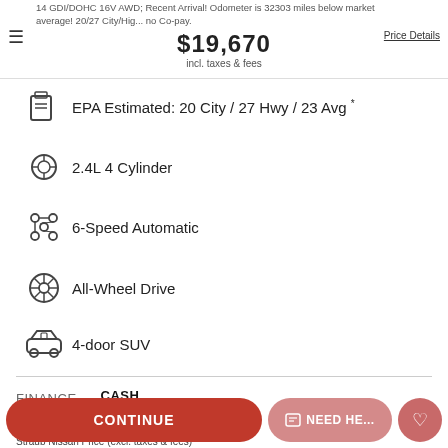14 GDI/DOHC 16V AWD; Recent Arrival! Odometer is 32303 miles below market average! 20/27 City/Highway, no Co-pay. $19,670 incl. taxes & fees
EPA Estimated: 20 City / 27 Hwy / 23 Avg *
2.4L 4 Cylinder
6-Speed Automatic
All-Wheel Drive
4-door SUV
FINANCE   CASH
$18,387 * Price Details
Straub Nissan Price (excl. taxes & fees)
Mileage: 53,603